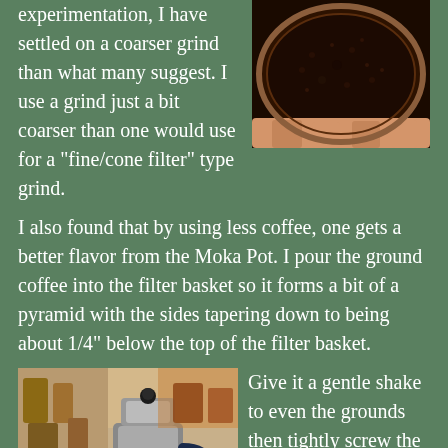experimentation, I have settled on a coarser grind than what many suggest. I use a grind just a bit coarser than one would use for a "fine/cone filter" type grind.
[Figure (photo): Top-down view of a coffee filter basket filled with dark ground coffee, held in someone's hand]
I also found that by using less coffee, one gets a better flavor from the Moka Pot. I pour the ground coffee into the filter basket so it forms a bit of a pyramid with the sides tapering down to being about 1/4" below the top of the filter basket.
[Figure (photo): A Moka Pot coffee maker sitting on a surface in a home kitchen setting]
Give it a gentle shake to even the grounds then tightly screw the